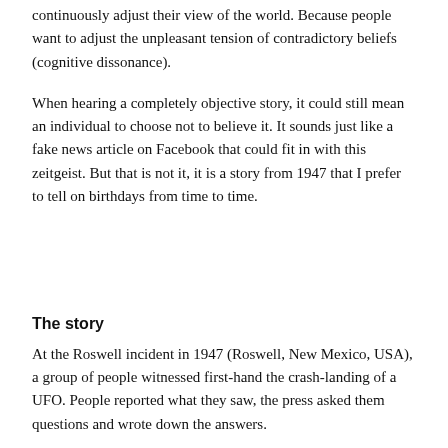continuously adjust their view of the world. Because people want to adjust the unpleasant tension of contradictory beliefs (cognitive dissonance).
When hearing a completely objective story, it could still mean an individual to choose not to believe it. It sounds just like a fake news article on Facebook that could fit in with this zeitgeist. But that is not it, it is a story from 1947 that I prefer to tell on birthdays from time to time.
The story
At the Roswell incident in 1947 (Roswell, New Mexico, USA), a group of people witnessed first-hand the crash-landing of a UFO. People reported what they saw, the press asked them questions and wrote down the answers.